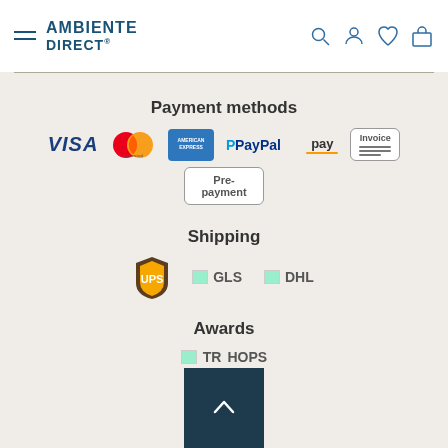AMBIENTE DIRECT
Payment methods
[Figure (logo): Payment method logos: VISA, Mastercard, American Express, PayPal, Amazon Pay, Invoice, Pre-payment]
Shipping
[Figure (logo): Shipping logos: UPS, GLS, DHL]
Awards
[Figure (logo): Awards logo: Trusted Shops]